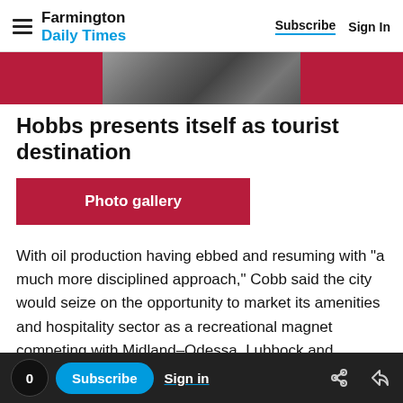Farmington Daily Times | Subscribe | Sign In
[Figure (photo): Partial photo strip with red border — appears to be a close-up of coins or metallic objects]
Hobbs presents itself as tourist destination
Photo gallery
With oil production having ebbed and resuming with "a much more disciplined approach," Cobb said the city would seize on the opportunity to market its amenities and hospitality sector as a recreational magnet competing with Midland–Odessa, Lubbock and Amarillo, Texas as well as New Mexico
0 | Subscribe | Sign in